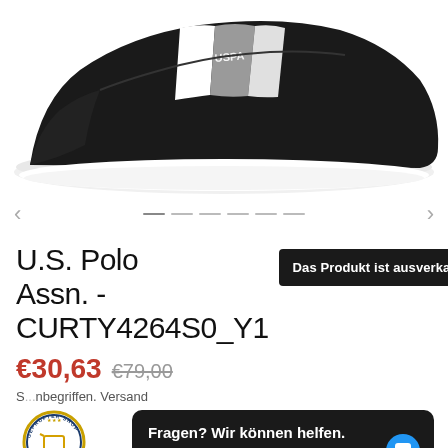[Figure (photo): Black U.S. Polo Assn. sneaker with white stripe and USPA logo on a white background]
U.S. Polo Assn. - CURTY4264S0_Y1
Das Produkt ist ausverkauft
€30,63  €79,00
S...nbegriffen. Versand
[Figure (logo): Geprüfter Shop OnTrustNet seal with shopping cart icon]
Shop-Zertifikat 232101421914
Fragen? Wir können helfen. Chatte jetzt mit uns.